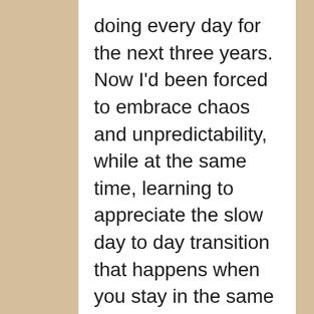doing every day for the next three years. Now I'd been forced to embrace chaos and unpredictability, while at the same time, learning to appreciate the slow day to day transition that happens when you stay in the same place as the seasons